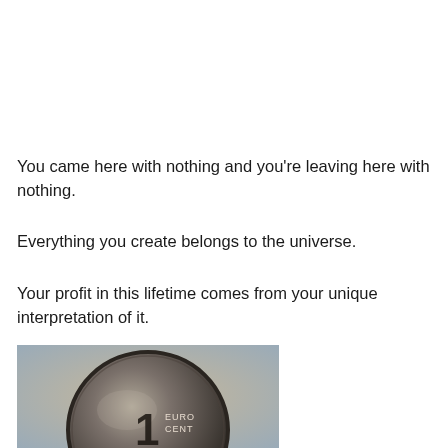You came here with nothing and you're leaving here with nothing.
Everything you create belongs to the universe.
Your profit in this lifetime comes from your unique interpretation of it.
[Figure (photo): Close-up photograph of a 1 Euro cent coin showing the number 1 and text EURO CENT on the coin face, with a blurred background.]